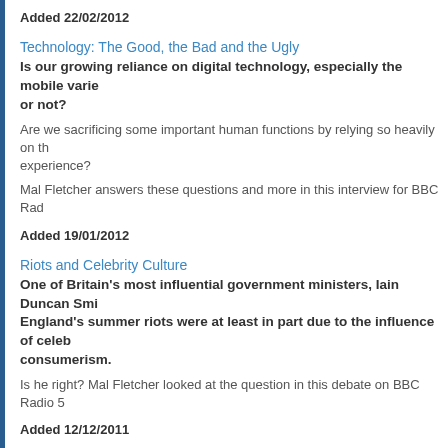Added 22/02/2012
Technology: The Good, the Bad and the Ugly
Is our growing reliance on digital technology, especially the mobile varie or not?
Are we sacrificing some important human functions by relying so heavily on th experience?
Mal Fletcher answers these questions and more in this interview for BBC Rad
Added 19/01/2012
Riots and Celebrity Culture
One of Britain's most influential government ministers, Iain Duncan Smi England's summer riots were at least in part due to the influence of celeb consumerism.
Is he right? Mal Fletcher looked at the question in this debate on BBC Radio 5
Added 12/12/2011
Does Blogging Have a Future?
In the age of micro-blogging services like Twitter, and video vlogs on YouT writing on the proverbial wall for the humble blog?
Mal Fletcher answers these questions as part of this interview on BBC Radio.
Added 27/10/2011